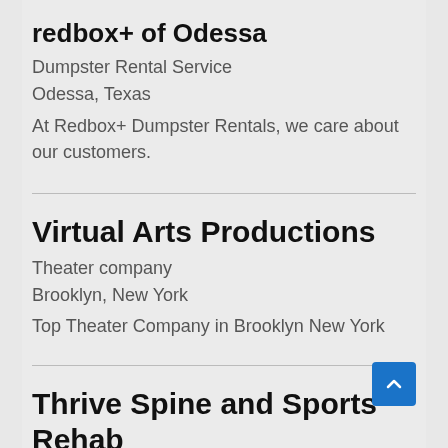redbox+ of Odessa
Dumpster Rental Service
Odessa, Texas
At Redbox+ Dumpster Rentals, we care about our customers.
Virtual Arts Productions
Theater company
Brooklyn, New York
Top Theater Company in Brooklyn New York
Thrive Spine and Sports Rehab